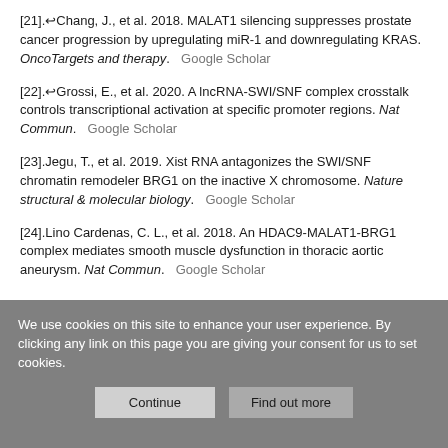[21].↩Chang, J., et al. 2018. MALAT1 silencing suppresses prostate cancer progression by upregulating miR-1 and downregulating KRAS. OncoTargets and therapy. Google Scholar
[22].↩Grossi, E., et al. 2020. A lncRNA-SWI/SNF complex crosstalk controls transcriptional activation at specific promoter regions. Nat Commun. Google Scholar
[23].Jegu, T., et al. 2019. Xist RNA antagonizes the SWI/SNF chromatin remodeler BRG1 on the inactive X chromosome. Nature structural & molecular biology. Google Scholar
[24].Lino Cardenas, C. L., et al. 2018. An HDAC9-MALAT1-BRG1 complex mediates smooth muscle dysfunction in thoracic aortic aneurysm. Nat Commun. Google Scholar
We use cookies on this site to enhance your user experience. By clicking any link on this page you are giving your consent for us to set cookies.